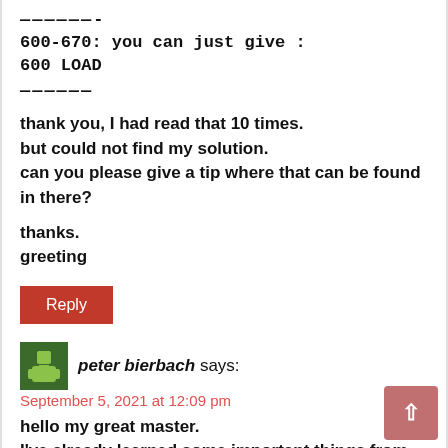——————-
600-670: you can just give :
600 LOAD
——————
thank you, I had read that 10 times.
but could not find my solution.
can you please give a tip where that can be found in there?

thanks.
greeting
[Figure (other): Red Reply button]
[Figure (other): Green avatar icon for user peter bierbach]
peter bierbach says:
September 5, 2021 at 12:09 pm
hello my great master.
I've already learned some important things from you.
[Figure (other): Scroll to top button (pink/salmon rounded rectangle with up arrow)]